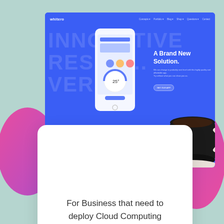[Figure (screenshot): Screenshot of 'whitero' website with blue background, showing a mobile app mockup with 'A Brand New Solution.' text, pencil and eraser props, and a coffee cup]
For Business that need to deploy Cloud Computing